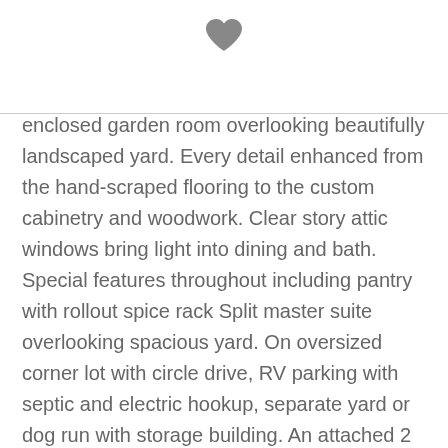[Figure (illustration): A dark gray filled heart icon centered near the top of the page]
enclosed garden room overlooking beautifully landscaped yard. Every detail enhanced from the hand-scraped flooring to the custom cabinetry and woodwork. Clear story attic windows bring light into dining and bath. Special features throughout including pantry with rollout spice rack Split master suite overlooking spacious yard. On oversized corner lot with circle drive, RV parking with septic and electric hookup, separate yard or dog run with storage building. An attached 2 car garage with separate one car garage ideal for workshop. Versatile oversized bonus room upstairs with plumbing that can be converted to guest suite or used a game room, playroom, media room or large home office.